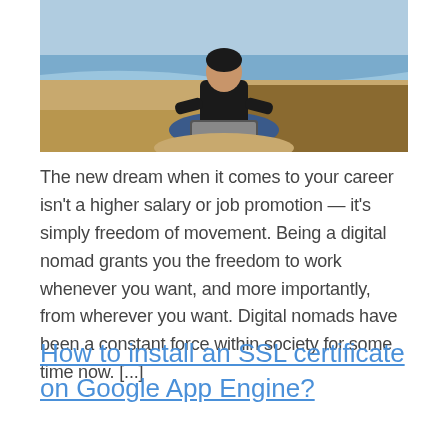[Figure (photo): A person sitting cross-legged on a sandy beach, working on a laptop, with ocean waves visible in the background.]
The new dream when it comes to your career isn't a higher salary or job promotion — it's simply freedom of movement. Being a digital nomad grants you the freedom to work whenever you want, and more importantly, from wherever you want. Digital nomads have been a constant force within society for some time now. [...]
How to install an SSL certificate on Google App Engine?